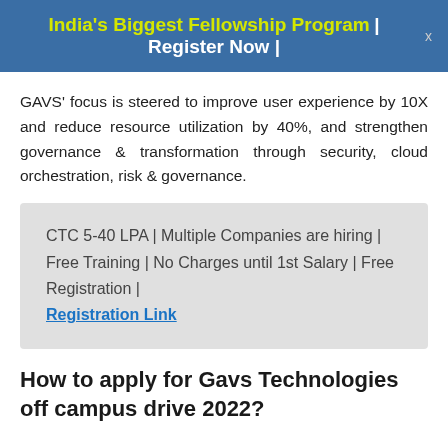India's Biggest Fellowship Program | Register Now |
GAVS' focus is steered to improve user experience by 10X and reduce resource utilization by 40%, and strengthen governance & transformation through security, cloud orchestration, risk & governance.
CTC 5-40 LPA | Multiple Companies are hiring | Free Training | No Charges until 1st Salary | Free Registration | Registration Link
How to apply for Gavs Technologies off campus drive 2022?